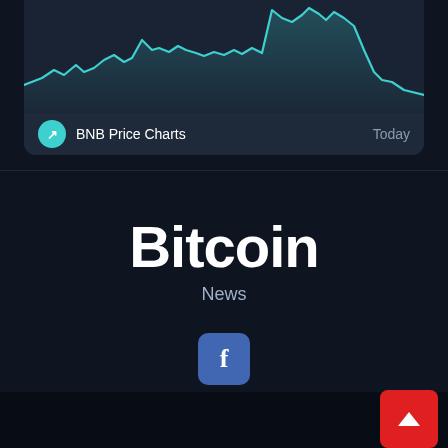[Figure (continuous-plot): BNB price line chart showing intraday price movements with teal/cyan line on dark background. Price rises to a peak in the middle, dips, rises again to a higher peak on the right side, then drops sharply.]
BNB Price Charts  Today
Bitcoin
News
[Figure (logo): Facebook logo button - blue rounded square with white 'f' letter]